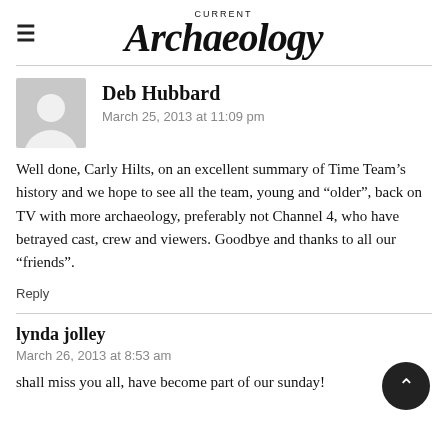Current Archaeology
Deb Hubbard
March 25, 2013 at 11:09 pm

Well done, Carly Hilts, on an excellent summary of Time Team's history and we hope to see all the team, young and “older”, back on TV with more archaeology, preferably not Channel 4, who have betrayed cast, crew and viewers. Goodbye and thanks to all our “friends”.

Reply
lynda jolley
March 26, 2013 at 8:53 am

shall miss you all, have become part of our sunday!